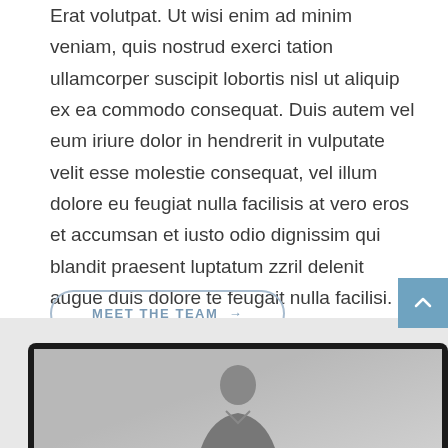Erat volutpat. Ut wisi enim ad minim veniam, quis nostrud exerci tation ullamcorper suscipit lobortis nisl ut aliquip ex ea commodo consequat. Duis autem vel eum iriure dolor in hendrerit in vulputate velit esse molestie consequat, vel illum dolore eu feugiat nulla facilisis at vero eros et accumsan et iusto odio dignissim qui blandit praesent luptatum zzril delenit augue duis dolore te feugait nulla facilisi. Nam liber.
MEET THE TEAM →
[Figure (screenshot): Bottom portion showing a laptop screen with a person in grayscale, partially cropped. A blue scroll-to-top button with an up arrow is visible in the upper right of this section.]